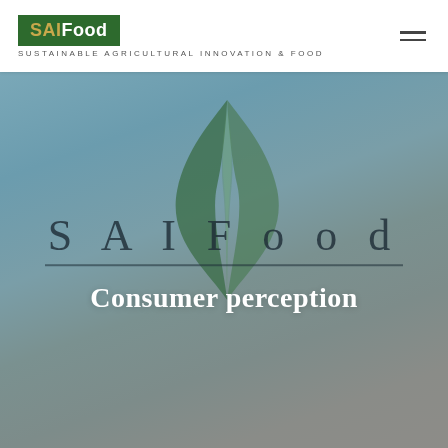[Figure (logo): SAIFood logo: green rectangle with 'SAIFood' text in gold/white, subtitle 'SUSTAINABLE AGRICULTURAL INNOVATION & FOOD']
[Figure (illustration): SAIFood cover page with teal-grey gradient background, large decorative leaf/wing SVG illustration in green, 'SAIFood' wordmark in large serif letters with horizontal rule, and 'Consumer perception' subtitle in white bold serif text]